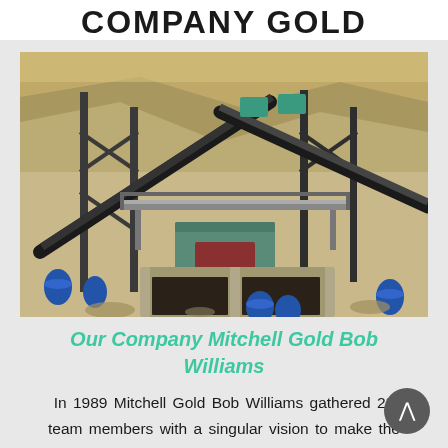COMPANY GOLD
[Figure (photo): Mining facility with industrial conveyor belts, steel scaffolding structures, and concrete foundations set against a rocky quarry backdrop. Blue barrels and green machinery are visible.]
Our Company Mitchell Gold Bob Williams
In 1989 Mitchell Gold Bob Williams gathered 23 team members with a singular vision to make the world a more comfortable and stylish place From